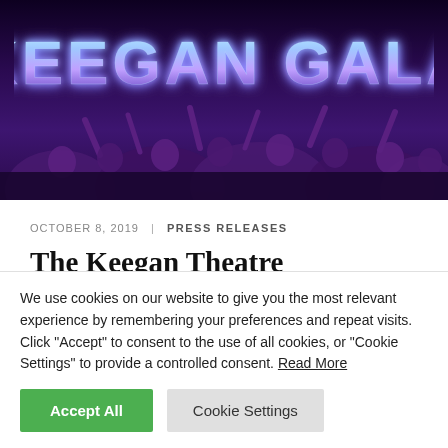[Figure (photo): Banner image for Keegan Gala event. Dark purple background with crowd of people with hands raised, overlaid with neon chrome-style text reading 'KEEGAN GALA']
OCTOBER 8, 2019 | PRESS RELEASES
The Keegan Theatre Announces 4th Annual Gala
'80s Mystery Event Slated for November 18 October 8,
We use cookies on our website to give you the most relevant experience by remembering your preferences and repeat visits. Click "Accept" to consent to the use of all cookies, or "Cookie Settings" to provide a controlled consent. Read More